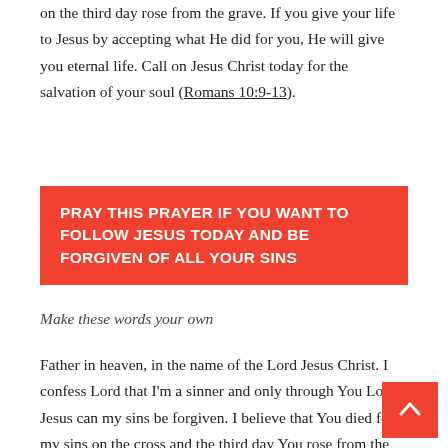on the third day rose from the grave. If you give your life to Jesus by accepting what He did for you, He will give you eternal life. Call on Jesus Christ today for the salvation of your soul (Romans 10:9-13).
PRAY THIS PRAYER IF YOU WANT TO FOLLOW JESUS TODAY AND BE FORGIVEN OF ALL YOUR SINS
Make these words your own
Father in heaven, in the name of the Lord Jesus Christ. I confess Lord that I'm a sinner and only through You Lord Jesus can my sins be forgiven. I believe that You died for my sins on the cross and the third day You rose from the grave. Forgive me